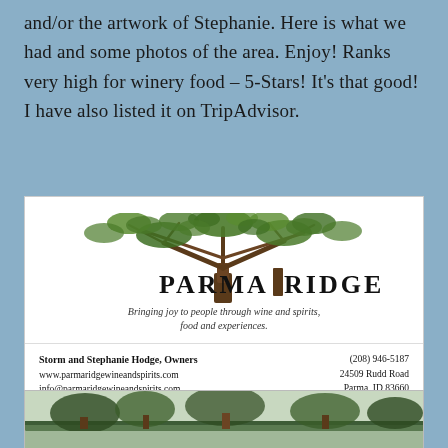and/or the artwork of Stephanie. Here is what we had and some photos of the area. Enjoy! Ranks very high for winery food – 5-Stars! It's that good! I have also listed it on TripAdvisor.
[Figure (other): Parma Ridge Winery business card. Features a tree logo with leafy canopy, the name PARMA RIDGE in large serif font, tagline 'Bringing joy to people through wine and spirits, food and experiences.' Contact info: Storm and Stephanie Hodge, Owners; www.parmaridgewineandspirits.com; info@parmaridgewineandspirits.com; (208) 946-5187; 24509 Rudd Road; Parma, ID 83660]
[Figure (photo): Partial photo showing the top of what appears to be a winery sign with trees/vines in the background, cut off at the bottom of the page.]